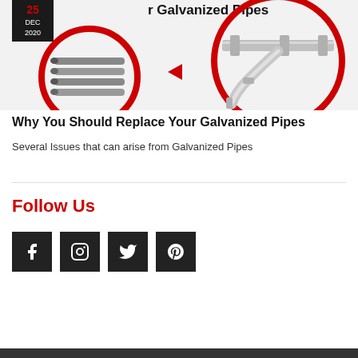[Figure (illustration): Article header image showing galvanized pipes on the left in a red circle and metal pipe fittings on the right in a red circle with a red arrow between them. Date badge shows 25 DEC 2020 in top left corner.]
Why You Should Replace Your Galvanized Pipes
Several Issues that can arise from Galvanized Pipes
Follow Us
[Figure (infographic): Four social media icon buttons in dark grey/black squares: Facebook (f), Instagram (camera), Twitter (bird), Pinterest (p)]